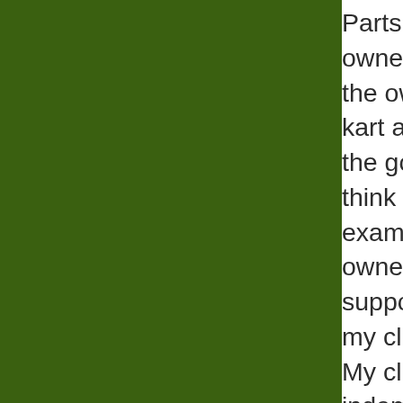[Figure (other): Solid dark green rectangular panel filling the left portion of the page]
Parts of a contract owner to you the owner's g kart and hurt the go-karts w think it fair, bu example, I ha owner. The o supposed to my client was My client had indemnity cla be responsible even if it was
Most people owner can ca